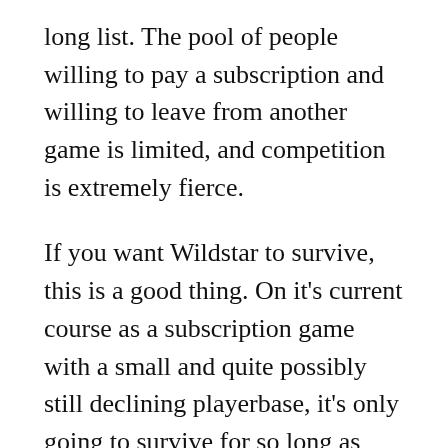long list. The pool of people willing to pay a subscription and willing to leave from another game is limited, and competition is extremely fierce.
If you want Wildstar to survive, this is a good thing. On it's current course as a subscription game with a small and quite possibly still declining playerbase, it's only going to survive for so long as NCSoft keeps willing to eat losses. Once that patience ends, it's dead. Growing out of it isn't really realistic – Wildstar's visibility on things like social media is low due to the lack of players. There simply aren't enough enthusiastic players, bloggers, Youtubers, and so on to get the word out about